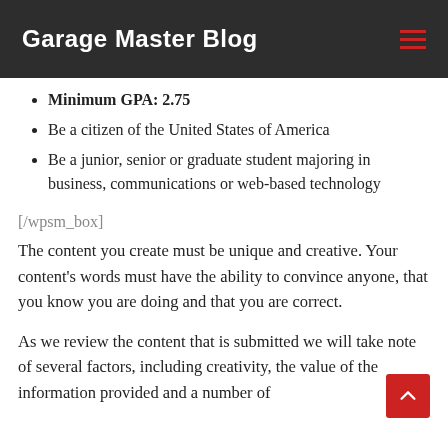Garage Master Blog
Minimum GPA: 2.75
Be a citizen of the United States of America
Be a junior, senior or graduate student majoring in business, communications or web-based technology
[/wpsm_box]
The content you create must be unique and creative. Your content's words must have the ability to convince anyone, that you know you are doing and that you are correct.
As we review the content that is submitted we will take note of several factors, including creativity, the value of the information provided and a number of